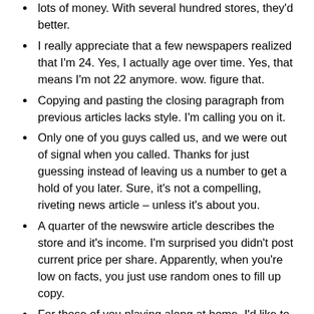lots of money. With several hundred stores, they'd better.
I really appreciate that a few newspapers realized that I'm 24. Yes, I actually age over time. Yes, that means I'm not 22 anymore. wow. figure that.
Copying and pasting the closing paragraph from previous articles lacks style. I'm calling you on it.
Only one of you guys called us, and we were out of signal when you called. Thanks for just guessing instead of leaving us a number to get a hold of you later. Sure, it's not a compelling, riveting news article – unless it's about you.
A quarter of the newswire article describes the store and it's income. I'm surprised you didn't post current price per share. Apparently, when you're low on facts, you just use random ones to fill up copy.
For those of you playing along at home, I'd like to point out that they mention I'm cooperating with authorities. Thanks again guys, for just making shit up. I agreed to cooperate with authorities in my plea bargain. You're right. If Al Capone got a plea through North Carolina, so would have